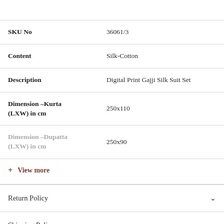|  |  |
| --- | --- |
| SKU No | 36061/3 |
| Content | Silk-Cotton |
| Description | Digital Print Gajji Silk Suit Set |
| Dimension –Kurta (LXW) in cm | 250x110 |
| Dimension –Dupatta (LXW) in cm | 250x90 |
+ View more
Return Policy
Shipping Policy